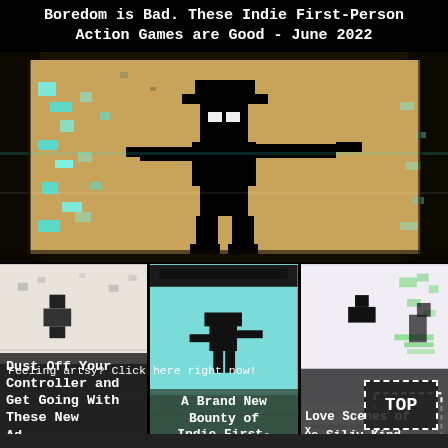Boredom is Bad. These Indie First-Person Action Games are Good - June 2022
[Figure (illustration): Pixelated indie game screenshot showing a black silhouette character against a beige/tan and teal pixelated background, with heavy glitch/noise artifacts]
[Figure (illustration): Left panel: pixelated game screenshot with light background and dark pixel figures, mostly white/grey with glitch noise]
Dust Off Your Controller and Get Going With These New Ad
[Figure (illustration): Center panel: pixelated game screenshot with teal/blue sky background and dark pixel character figure]
A Brand New Bounty of Indie First-
[Figure (illustration): Right panel: pixelated game screenshot with light pink/white background, dark figures and glitch noise]
Love Scenes of X e Silly Kind
Feeling artsy? Click here right now!
TOP